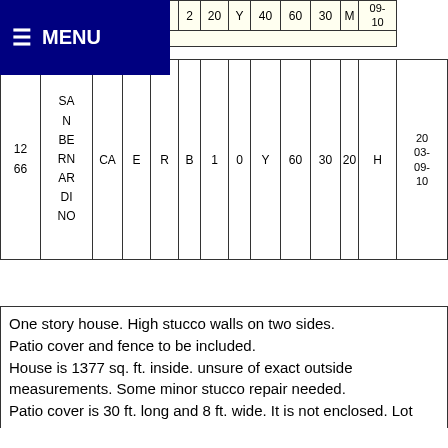|  |  | CA | E | R | B | 1 | 0 | Y | 60 | 30 | 20 | H |  |
| --- | --- | --- | --- | --- | --- | --- | --- | --- | --- | --- | --- | --- | --- |
|  | 25 |  |  |  |  |  |  |  |  |  |  |  | 09-10 |
|  |  |  |  |  |  |  |  |  |  |  |  |  |  |
| 12 66 | SAN BERNARDINO | CA | E | R | B | 1 | 0 | Y | 60 | 30 | 20 | H | 2003-09-10 |
One story house. High stucco walls on two sides. Patio cover and fence to be included. House is 1377 sq. ft. inside. unsure of exact outside measurements. Some minor stucco repair needed. Patio cover is 30 ft. long and 8 ft. wide. It is not enclosed. Lot